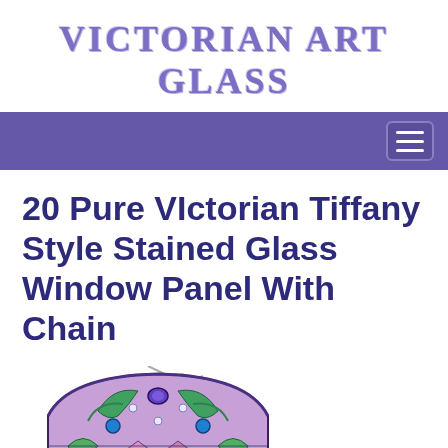Victorian Art Glass
20 Pure VIctorian Tiffany Style Stained Glass Window Panel With Chain
[Figure (photo): Colorful Tiffany-style stained glass window panel with intricate peacock/floral design in blues, greens, purples and pinks, with a hanging chain at top]